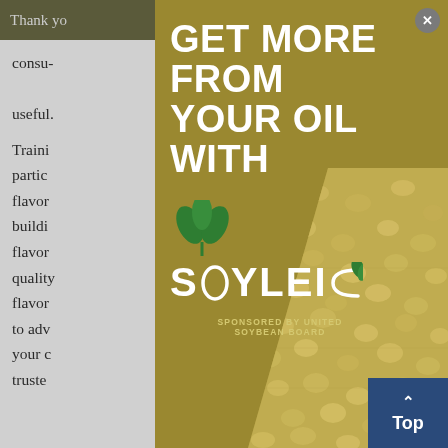Thank you … tools you
consu… be useful.
Traini… partic… h of flavor… buildi… n, flavor… quality… ording flavor… lling to adv… your c… truste…
[Figure (advertisement): Popup advertisement with gold/olive background. Headline reads 'GET MORE FROM YOUR OIL WITH' in large white bold uppercase text. Below is the Soyleic logo — a green plant/leaf icon above the word SOYLEIC with a stylized leaf replacing the I. Text reads 'SPONSORED BY UNITED SOYBEAN BOARD'. Right portion shows a close-up photo of soybeans. A close (X) button appears top-right, and a blue 'Top' navigation button appears bottom-right.]